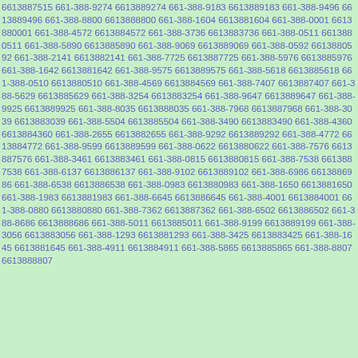6613887515 661-388-9274 6613889274 661-388-9183 6613889183 661-388-9496 6613889496 661-388-8800 6613888800 661-388-1604 6613881604 661-388-0001 6613880001 661-388-4572 6613884572 661-388-3736 6613883736 661-388-0511 6613880511 661-388-5890 6613885890 661-388-9069 6613889069 661-388-0592 6613880592 661-388-2141 6613882141 661-388-7725 6613887725 661-388-5976 6613885976 661-388-1642 6613881642 661-388-9575 6613889575 661-388-5618 6613885618 661-388-0510 6613880510 661-388-4569 6613884569 661-388-7407 6613887407 661-388-5629 6613885629 661-388-3254 6613883254 661-388-9647 6613889647 661-388-9925 6613889925 661-388-8035 6613888035 661-388-7968 6613887968 661-388-3039 6613883039 661-388-5504 6613885504 661-388-3490 6613883490 661-388-4360 6613884360 661-388-2655 6613882655 661-388-9292 6613889292 661-388-4772 6613884772 661-388-9599 6613889599 661-388-0622 6613880622 661-388-7576 6613887576 661-388-3461 6613883461 661-388-0815 6613880815 661-388-7538 6613887538 661-388-6137 6613886137 661-388-9102 6613889102 661-388-6986 6613886986 661-388-6538 6613886538 661-388-0983 6613880983 661-388-1650 6613881650 661-388-1983 6613881983 661-388-6645 6613886645 661-388-4001 6613884001 661-388-0880 6613880880 661-388-7362 6613887362 661-388-6502 6613886502 661-388-8686 6613888686 661-388-5011 6613885011 661-388-9199 6613889199 661-388-3056 6613883056 661-388-1293 6613881293 661-388-3425 6613883425 661-388-1645 6613881645 661-388-4911 6613884911 661-388-5865 6613885865 661-388-8807 6613888807